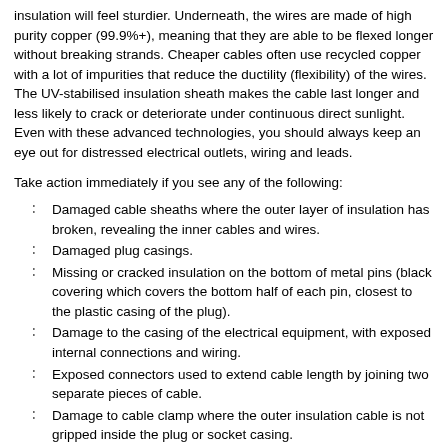insulation will feel sturdier. Underneath, the wires are made of high purity copper (99.9%+), meaning that they are able to be flexed longer without breaking strands. Cheaper cables often use recycled copper with a lot of impurities that reduce the ductility (flexibility) of the wires. The UV-stabilised insulation sheath makes the cable last longer and less likely to crack or deteriorate under continuous direct sunlight. Even with these advanced technologies, you should always keep an eye out for distressed electrical outlets, wiring and leads.
Take action immediately if you see any of the following:
Damaged cable sheaths where the outer layer of insulation has broken, revealing the inner cables and wires.
Damaged plug casings.
Missing or cracked insulation on the bottom of metal pins (black covering which covers the bottom half of each pin, closest to the plastic casing of the plug).
Damage to the casing of the electrical equipment, with exposed internal connections and wiring.
Exposed connectors used to extend cable length by joining two separate pieces of cable.
Damage to cable clamp where the outer insulation cable is not gripped inside the plug or socket casing.
The earth wiring has become exposed; loose and detached from inside the casing.